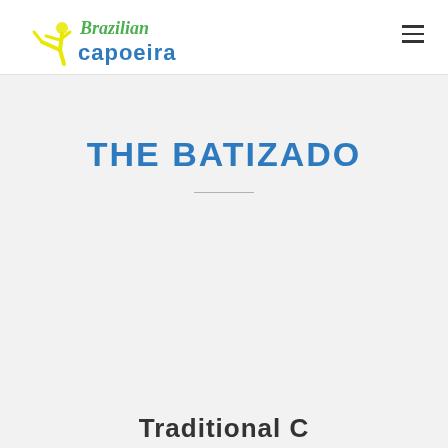Brazilian Capoeira
THE BATIZADO
Traditional C…